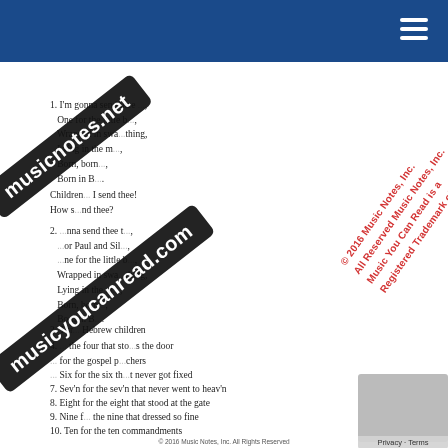musicnotes.net
1. I'm gonna send thee, One for the little b..., Wrapped in swaddling clothing, Lying in the manger, Born, born, Born in Bethlehem.
Children, how I send thee!
How shall I send thee?
2. I'm gonna send thee two, Two for Paul and Silas, One for the little b..., Wrapped in swaddling clothing, Lying in the manger, Born, born, Born in Bethlehem.
3. Three for the Hebrew children
4. ... the four that stood at the door
5. ... for the gospel preachers
6. Six for the six that never got fixed
7. Sev'n for the sev'n that never went to heav'n
8. Eight for the eight that stood at the gate
9. Nine for the nine that dressed so fine
10. Ten for the ten commandments
© 2016 Music Notes, Inc. All Rights Reserved
Music You Can Read is a registered trademark of Music Notes, Inc.
Music You Can Read®
musicnotes.net · musicyoucanread.com